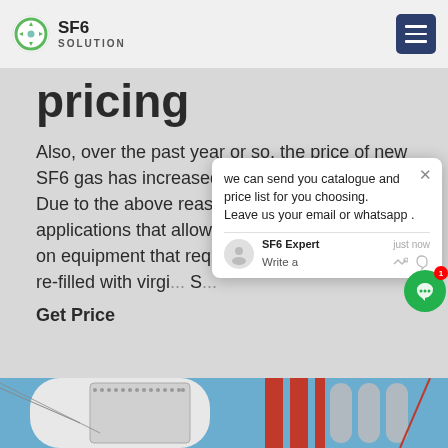SF6 SOLUTION
pricing
Also, over the past year or so, the price of new SF6 gas has increased in price by as mu... Due to the above reasons, SF6 is u... applications that allow reclamation a... using it on equipment that requires n... gas, only to be re-filled with virgi... S...
Get Price
[Figure (screenshot): Chat popup overlay with message: 'we can send you catalogue and price list for you choosing. Leave us your email or whatsapp .' with SF6 Expert agent, just now timestamp, Write a message input, thumbs up and paperclip icons.]
[Figure (photo): Industrial equipment photo showing a large white cylindrical tank with riveted rectangular panel, red metal structure in background, and cylindrical metal components, under blue sky.]